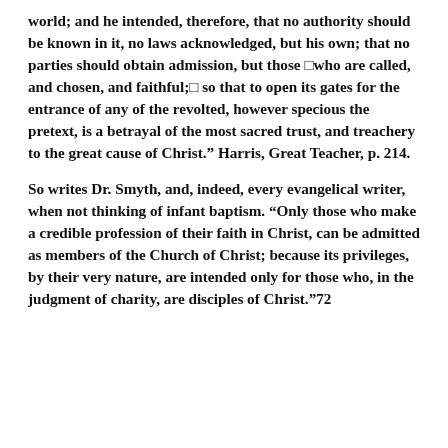world; and he intended, therefore, that no authority should be known in it, no laws acknowledged, but his own; that no parties should obtain admission, but those □who are called, and chosen, and faithful;□ so that to open its gates for the entrance of any of the revolted, however specious the pretext, is a betrayal of the most sacred trust, and treachery to the great cause of Christ.” Harris, Great Teacher, p. 214.
So writes Dr. Smyth, and, indeed, every evangelical writer, when not thinking of infant baptism. “Only those who make a credible profession of their faith in Christ, can be admitted as members of the Church of Christ; because its privileges, by their very nature, are intended only for those who, in the judgment of charity, are disciples of Christ.”72